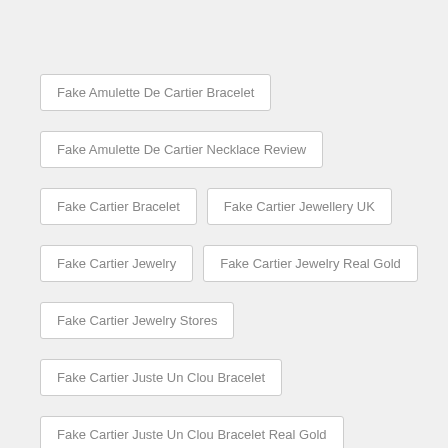Fake Amulette De Cartier Bracelet
Fake Amulette De Cartier Necklace Review
Fake Cartier Bracelet
Fake Cartier Jewellery UK
Fake Cartier Jewelry
Fake Cartier Jewelry Real Gold
Fake Cartier Jewelry Stores
Fake Cartier Juste Un Clou Bracelet
Fake Cartier Juste Un Clou Bracelet Real Gold
Fake Cartier Juste Un Clou Ring
Fake Cartier LOVE Bracelet
Fake Cartier Love Bracelet 10 Diamonds
Fake Cartier Love Bracelet 18k Gold